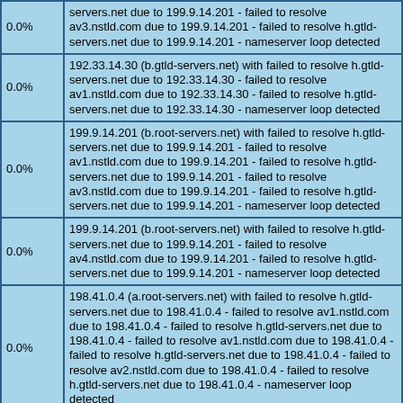| Percentage | Message |
| --- | --- |
| 0.0% | servers.net due to 199.9.14.201 - failed to resolve av3.nstld.com due to 199.9.14.201 - failed to resolve h.gtld-servers.net due to 199.9.14.201 - nameserver loop detected |
| 0.0% | 192.33.14.30 (b.gtld-servers.net) with failed to resolve h.gtld-servers.net due to 192.33.14.30 - failed to resolve av1.nstld.com due to 192.33.14.30 - failed to resolve h.gtld-servers.net due to 192.33.14.30 - nameserver loop detected |
| 0.0% | 199.9.14.201 (b.root-servers.net) with failed to resolve h.gtld-servers.net due to 199.9.14.201 - failed to resolve av1.nstld.com due to 199.9.14.201 - failed to resolve h.gtld-servers.net due to 199.9.14.201 - failed to resolve av3.nstld.com due to 199.9.14.201 - failed to resolve h.gtld-servers.net due to 199.9.14.201 - nameserver loop detected |
| 0.0% | 199.9.14.201 (b.root-servers.net) with failed to resolve h.gtld-servers.net due to 199.9.14.201 - failed to resolve av4.nstld.com due to 199.9.14.201 - failed to resolve h.gtld-servers.net due to 199.9.14.201 - nameserver loop detected |
| 0.0% | 198.41.0.4 (a.root-servers.net) with failed to resolve h.gtld-servers.net due to 198.41.0.4 - failed to resolve av1.nstld.com due to 198.41.0.4 - failed to resolve h.gtld-servers.net due to 198.41.0.4 - failed to resolve av1.nstld.com due to 198.41.0.4 - failed to resolve h.gtld-servers.net due to 198.41.0.4 - failed to resolve av2.nstld.com due to 198.41.0.4 - failed to resolve h.gtld-servers.net due to 198.41.0.4 - nameserver loop detected |
| 0.0% | 199.9.14.201 (b.root-servers.net) with failed to resolve h.gtld-servers.net due to 199.9.14.201 - failed to resolve av1.nstld.com due to 199.9.14.201 - failed to resolve h.gtld-servers.net due to 199.9.14.201 - failed to resolve av1.nstld.com due to 199.9.14.201 - failed to resolve h.gtld- |